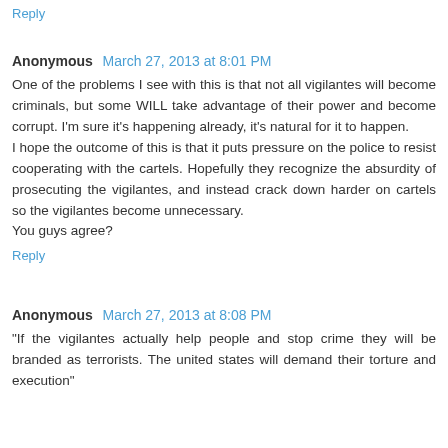Reply
Anonymous  March 27, 2013 at 8:01 PM
One of the problems I see with this is that not all vigilantes will become criminals, but some WILL take advantage of their power and become corrupt. I'm sure it's happening already, it's natural for it to happen.
I hope the outcome of this is that it puts pressure on the police to resist cooperating with the cartels. Hopefully they recognize the absurdity of prosecuting the vigilantes, and instead crack down harder on cartels so the vigilantes become unnecessary.
You guys agree?
Reply
Anonymous  March 27, 2013 at 8:08 PM
"If the vigilantes actually help people and stop crime they will be branded as terrorists. The united states will demand their torture and execution"